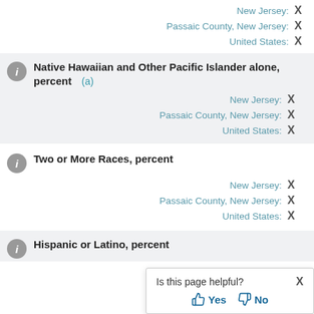New Jersey: X
Passaic County, New Jersey: X
United States: X
Native Hawaiian and Other Pacific Islander alone, percent (a)
New Jersey: X
Passaic County, New Jersey: X
United States: X
Two or More Races, percent
New Jersey: X
Passaic County, New Jersey: X
United States: X
Hispanic or Latino, percent
Is this page helpful? Yes No